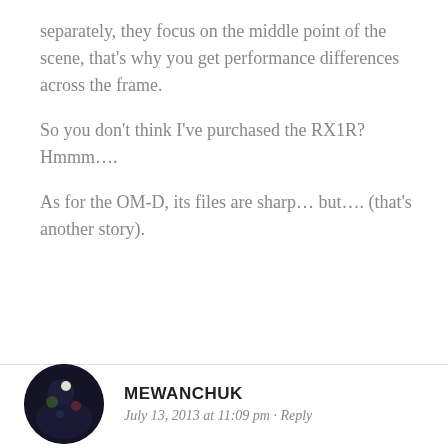separately, they focus on the middle point of the scene, that's why you get performance differences across the frame.

So you don't think I've purchased the RX1R? Hmmm….

As for the OM-D, its files are sharp… but…. (that's another story).
[Figure (photo): Circular avatar photo of commenter Mewanchuk, dark background with bokeh light]
MEWANCHUK
July 13, 2013 at 11:09 pm · Reply
Ah my Peter…you're such a